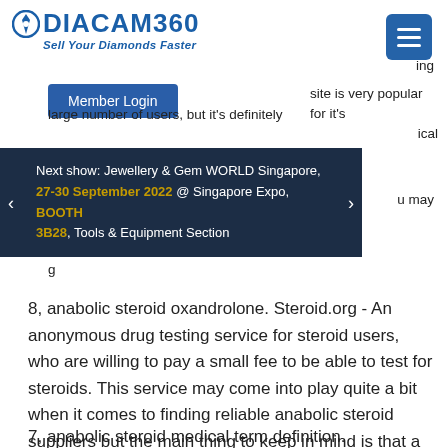[Figure (logo): Diacam360 logo with diamond icon and text 'Sell Your Diamonds Faster']
[Figure (other): Hamburger menu button (blue square with three white lines)]
ing
site is very popular for it's large number of users, but it's definitely
ical
u may
Member Login
Next show: Jewellery & Gem WORLD Singapore, 27-30 September 2022 @ Singapore Expo, BOOTH 3B28, Tools & Equipment Section
8, anabolic steroid oxandrolone. Steroid.org - An anonymous drug testing service for steroid users, who are willing to pay a small fee to be able to test for steroids. This service may come into play quite a bit when it comes to finding reliable anabolic steroid suppliers but the main thing to keep in mind is that a lot of the sites are fake.
7, anabolic steroid medical term definition. Steroid.org - An anonymous anabolic steroid